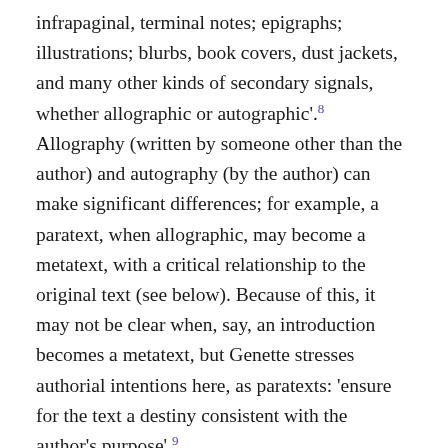infrapaginal, terminal notes; epigraphs; illustrations; blurbs, book covers, dust jackets, and many other kinds of secondary signals, whether allographic or autographic'.⁸ Allography (written by someone other than the author) and autography (by the author) can make significant differences; for example, a paratext, when allographic, may become a metatext, with a critical relationship to the original text (see below). Because of this, it may not be clear when, say, an introduction becomes a metatext, but Genette stresses authorial intentions here, as paratexts: 'ensure for the text a destiny consistent with the author's purpose'.⁹
Genette breaks these features of paratextual messages down further into categories such as peritext/epitext;